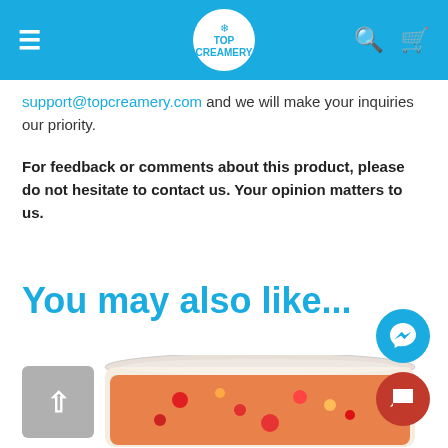TOP CREAMERY
support@topcreamery.com and we will make your inquiries our priority.
For feedback or comments about this product, please do not hesitate to contact us. Your opinion matters to us.
You may also like...
[Figure (photo): A plastic container of colorful dessert/beverage product from Top Creamery, partially shown at bottom of page]